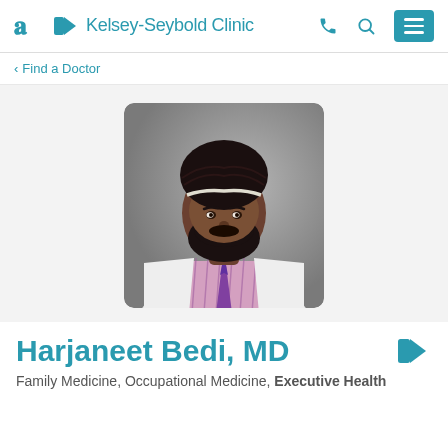Kelsey-Seybold Clinic
Find a Doctor
[Figure (photo): Professional headshot of Dr. Harjaneet Bedi wearing a black turban, white coat, and purple plaid shirt with purple tie, against a gray background]
Harjaneet Bedi, MD
Family Medicine, Occupational Medicine, Executive Health